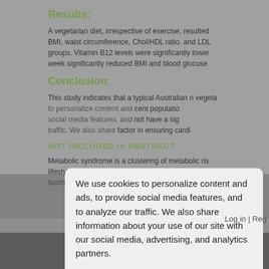Results:
A vegetarian diet, irrespective of exercise, resulted in lower BMI, waist circumference, Chol/HDL ratio, and LDL groups. Vitamin B12 levels were significantly lower week significantly reduced BMI and blood glucose
Conclusion:
This study indicates that a typical Australian n vegetarian diet population not have a sign factor in ensuring cardi
NOT INCLUDED in ABSTRACT
Metabolic syndrome is a clustering of metabolic ris lifestyle disease. These risk factors include, abdom fasting glucose.
We use cookies to personalize content and ads, to provide social media features, and to analyze our traffic. We also share information about your use of our site with our social media, advertising, and analytics partners.
Cookie Settings
Accept All Cookies
© netAdventist copyright 1999-2010 / All Rights
Log in | Reg
Cookie Settings